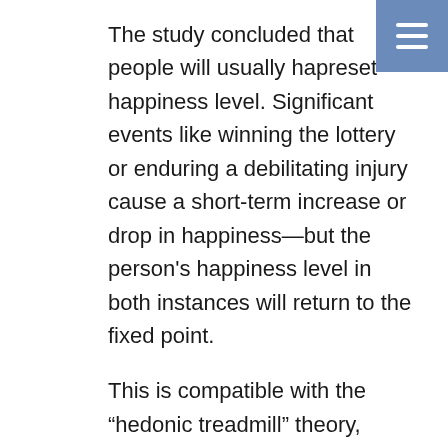The study concluded that people will usually have a preset happiness level. Significant events like winning the lottery or enduring a debilitating injury cause a short-term increase or drop in happiness—but the person's happiness level in both instances will return to the fixed point.
This is compatible with the "hedonic treadmill" theory, which claims that most people maintain more or less the same levels of happiness throughout life, comparable to when you adapt to and increase the speed on the treadmill.
For example, if you secure a job with a higher income, you almost certainly will be temporarily happier. But once your happiness level returns to